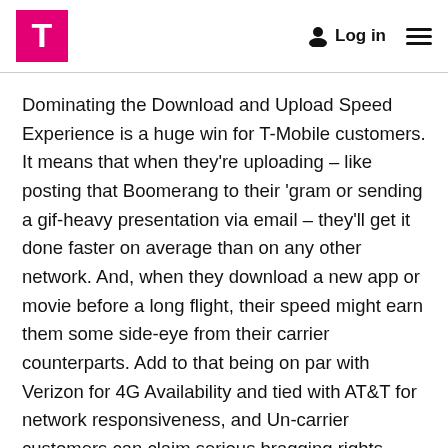T-Mobile Log in
Dominating the Download and Upload Speed Experience is a huge win for T-Mobile customers. It means that when they're uploading – like posting that Boomerang to their 'gram or sending a gif-heavy presentation via email – they'll get it done faster on average than on any other network. And, when they download a new app or movie before a long flight, their speed might earn them some side-eye from their carrier counterparts. Add to that being on par with Verizon for 4G Availability and tied with AT&T for network responsiveness, and Un-carrier customers can claim serious bragging rights.
Opensignal is a leader for measuring real-world mobile experience, collecting 5.6 billion measurements from